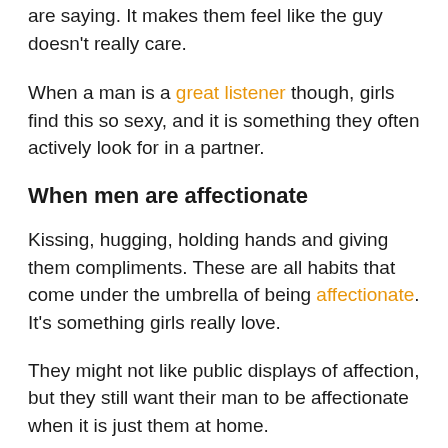are saying. It makes them feel like the guy doesn't really care.
When a man is a great listener though, girls find this so sexy, and it is something they often actively look for in a partner.
When men are affectionate
Kissing, hugging, holding hands and giving them compliments. These are all habits that come under the umbrella of being affectionate. It's something girls really love.
They might not like public displays of affection, but they still want their man to be affectionate when it is just them at home.
It may be necessary to forget to help them on this…